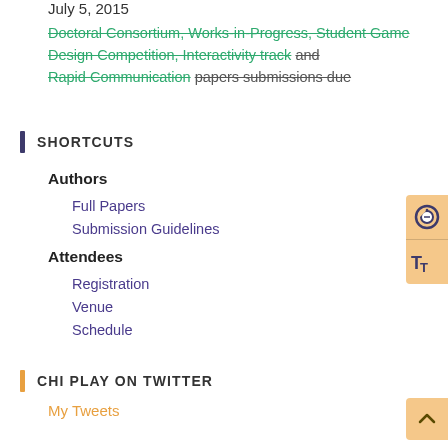July 5, 2015
Doctoral Consortium, Works-in-Progress, Student Game Design Competition, Interactivity track and Rapid Communication papers submissions due
SHORTCUTS
Authors
Full Papers
Submission Guidelines
Attendees
Registration
Venue
Schedule
CHI PLAY ON TWITTER
My Tweets